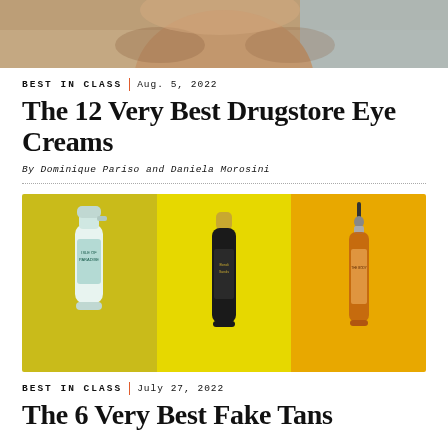[Figure (photo): Top portion of a person's face (forehead, eyes) against a light blue background, cropped at the bottom]
BEST IN CLASS | Aug. 5, 2022
The 12 Very Best Drugstore Eye Creams
By Dominique Pariso and Daniela Morosini
[Figure (photo): Three skincare/tanning product bottles on a yellow-green and amber background: Isle of Paradise spray bottle, Bondi Sands black foam bottle, and an amber dropper bottle labeled The Body]
BEST IN CLASS | July 27, 2022
The 6 Very Best Fake Tans